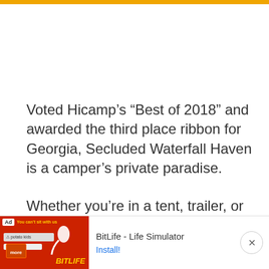Voted Hicamp’s “Best of 2018” and awarded the third place ribbon for Georgia, Secluded Waterfall Haven is a camper’s private paradise.
Whether you’re in a tent, trailer, or RV, Secluded Waterfall haven can host up to a party of 56! While you’re probably not going to max out the occupancy, odds are you’ll be more than satisfied with the scenic prope
[Figure (screenshot): Mobile advertisement banner for BitLife - Life Simulator app showing a red background with game imagery, Ad label, app name, and Install button with close X button]